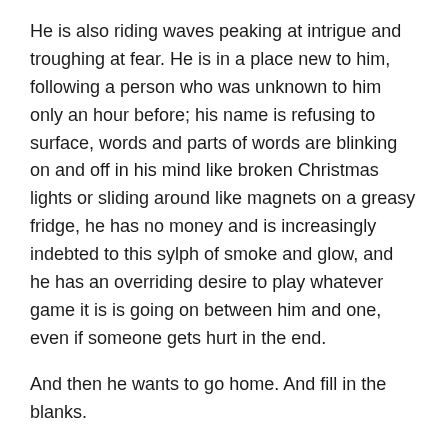He is also riding waves peaking at intrigue and troughing at fear. He is in a place new to him, following a person who was unknown to him only an hour before; his name is refusing to surface, words and parts of words are blinking on and off in his mind like broken Christmas lights or sliding around like magnets on a greasy fridge, he has no money and is increasingly indebted to this sylph of smoke and glow, and he has an overriding desire to play whatever game it is is going on between him and one, even if someone gets hurt in the end.
And then he wants to go home. And fill in the blanks.
While he is walking with one there is not much talk because one is leading the way, and briskly, and he is trying to get his bearings. The town improves as they transit it on foot; they started at the heel of the town, went